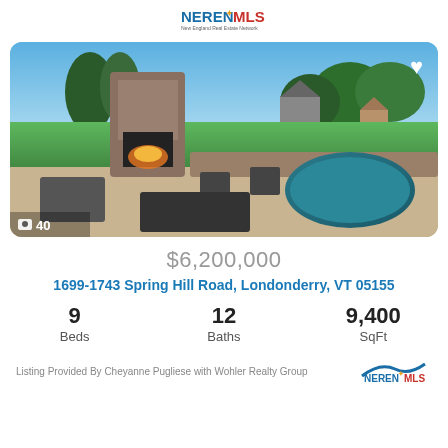NEREN MLS
[Figure (photo): Outdoor patio with stone fireplace, patio furniture, and a circular pool/hot tub surrounded by stone pavers, lush green lawn and trees in background]
$6,200,000
1699-1743 Spring Hill Road, Londonderry, VT 05155
| Beds | Baths | SqFt |
| --- | --- | --- |
| 9 | 12 | 9,400 |
Listing Provided By Cheyanne Pugliese with Wohler Realty Group